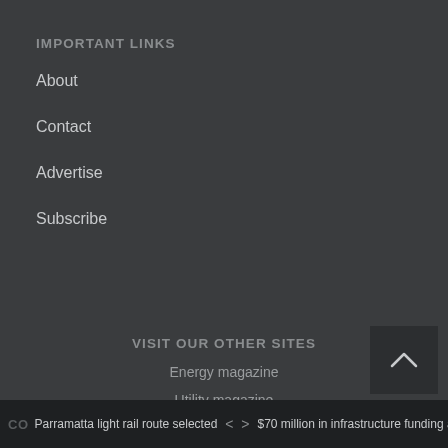IMPORTANT LINKS
About
Contact
Advertise
Subscribe
VISIT OUR OTHER SITES
Energy magazine
Utility magazine
Pump Industry magazine
Council Magazine
Mining Magazine
CO  Parramatta light rail route selected  <  >  $70 million in infrastructure funding avail...